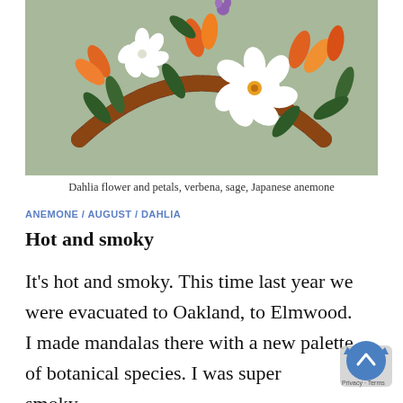[Figure (photo): Floral mandala arrangement with dahlia flower and petals, verbena, sage, and Japanese anemone on a sage green background. The arrangement forms a decorative arc/garland with white flowers, orange petals, dark green leaves, and a dark brown patterned band.]
Dahlia flower and petals, verbena, sage, Japanese anemone
ANEMONE / AUGUST / DAHLIA
Hot and smoky
It's hot and smoky. This time last year we were evacuated to Oakland, to Elmwood. I made mandalas there with a new palette of botanical species. I was super smoky…